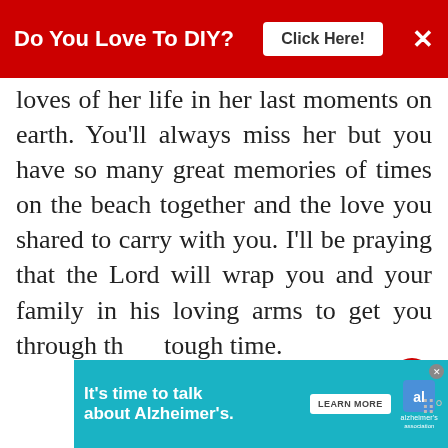[Figure (screenshot): Red banner ad at top: 'Do You Love To DIY?' with 'Click Here!' button and X close button]
loves of her life in her last moments on earth. You'll always miss her but you have so many great memories of times on the beach together and the love you shared to carry with you. I'll be praying that the Lord will wrap you and your family in his loving arms to get you through this tough time.
REPLY  DELETE
▼  REPLIES
[Figure (screenshot): Bottom ad banner: 'It's time to talk about Alzheimer's.' with LEARN MORE button and Alzheimer's Association logo]